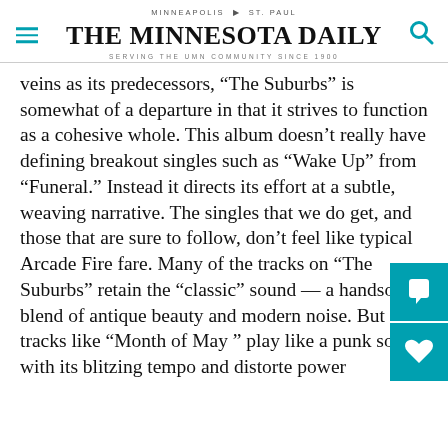MINNEAPOLIS | ST. PAUL
THE MINNESOTA DAILY
SERVING THE UMN COMMUNITY SINCE 1900
veins as its predecessors, “The Suburbs” is somewhat of a departure in that it strives to function as a cohesive whole. This album doesn’t really have defining breakout singles such as “Wake Up” from “Funeral.” Instead it directs its effort at a subtle, weaving narrative. The singles that we do get, and those that are sure to follow, don’t feel like typical Arcade Fire fare. Many of the tracks on “The Suburbs” retain the “classic” sound — a handsome blend of antique beauty and modern noise. But tracks like “Month of May” play like a punk song with its blitzing tempo and distorted power strumming. “Sprawl II (Mountains Beyond Mountains),” maybe the catchiest track on the album, sounds like a late-’80s dance-pop ballad,